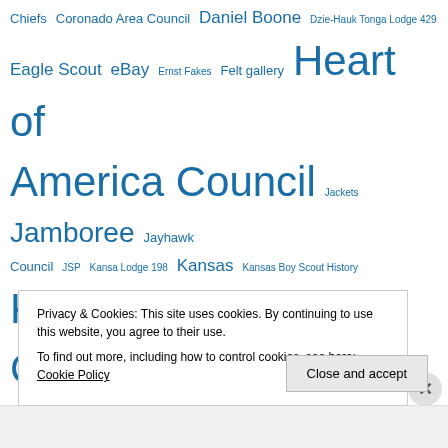Chiefs Coronado Area Council Daniel Boone Dzie-Hauk Tonga Lodge 429 Eagle Scout eBay Ernst Fakes Felt gallery Heart of America Council Jackets Jamboree Jayhawk Council JSP Kansa Lodge 198 Kansas Kansas Boy Scout History Kansas City Kansas City Area Council Kansas City Council Kansas Sea Scout Kaw Council Kidi Kidish Lodge 434 Mandan Lodge 372 Menninger Naish National Jamboree Native
Privacy & Cookies: This site uses cookies. By continuing to use this website, you agree to their use.
To find out more, including how to control cookies, see here: Cookie Policy